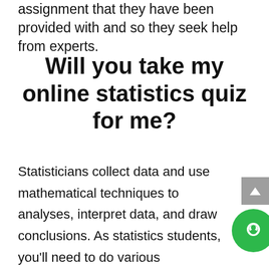assignment that they have been provided with and so they seek help from experts.
Will you take my online statistics quiz for me?
Statisticians collect data and use mathematical techniques to analyses, interpret data, and draw conclusions. As statistics students, you'll need to do various assignments, exams, quizzes, tests and research papers to horn your skills. Some of these papers and research questions may be challenging, but you